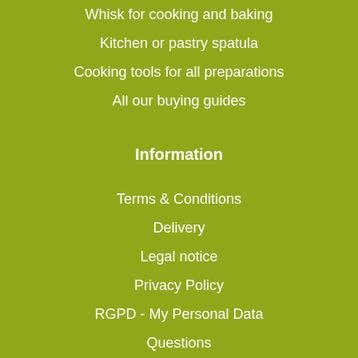Whisk for cooking and baking
Kitchen or pastry spatula
Cooking tools for all preparations
All our buying guides
Information
Terms & Conditions
Delivery
Legal notice
Privacy Policy
RGPD - My Personal Data
Questions
Who are we?
Returns and Refunds
Contact Us
Affiliate Program - Become an Ambassador!